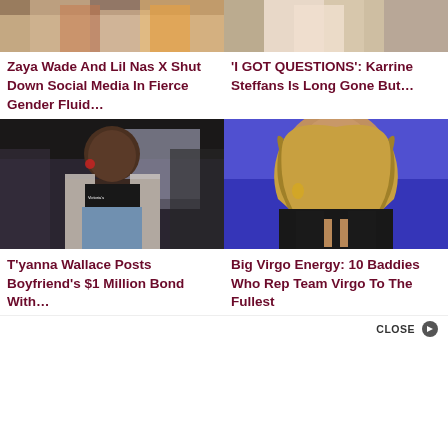[Figure (photo): Partial image top-left, cropped figures in patterned clothing]
[Figure (photo): Partial image top-right, cropped figure in light outfit]
Zaya Wade And Lil Nas X Shut Down Social Media In Fierce Gender Fluid…
'I GOT QUESTIONS': Karrine Steffans Is Long Gone But…
[Figure (photo): T'yanna Wallace at an event, wearing floral jacket and crop top]
[Figure (photo): Beyoncé in black leather outfit with gold earrings, praying hands pose against blue background]
T'yanna Wallace Posts Boyfriend's $1 Million Bond With…
Big Virgo Energy: 10 Baddies Who Rep Team Virgo To The Fullest